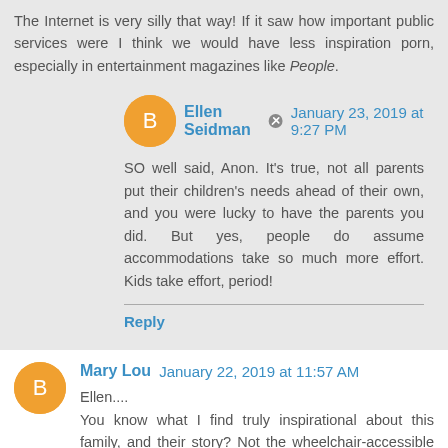The Internet is very silly that way! If it saw how important public services were I think we would have less inspiration porn, especially in entertainment magazines like People.
Ellen Seidman January 23, 2019 at 9:27 PM
SO well said, Anon. It's true, not all parents put their children's needs ahead of their own, and you were lucky to have the parents you did. But yes, people do assume accommodations take so much more effort. Kids take effort, period!
Reply
Mary Lou January 22, 2019 at 11:57 AM
Ellen....
You know what I find truly inspirational about this family, and their story? Not the wheelchair-accessible snow-created igloo!! As somebody who has a cosmic heart for